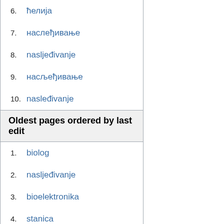6. ћелија
7. наслеђивање
8. nasljeđivanje
9. насљеђивање
10. nasleđivanje
Oldest pages ordered by last edit
1. biolog
2. nasljeđivanje
3. bioelektronika
4. stanica
5. živac
6. станица
7. матрица